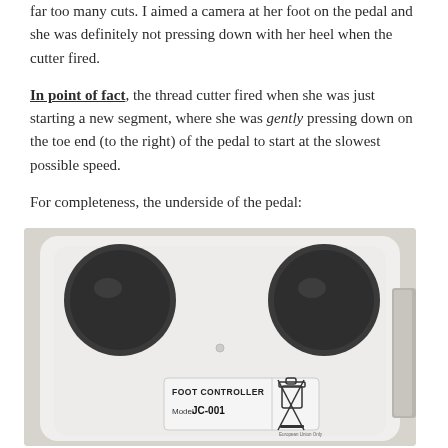far too many cuts. I aimed a camera at her foot on the pedal and she was definitely not pressing down with her heel when the cutter fired.
In point of fact, the thread cutter fired when she was just starting a new segment, where she was gently pressing down on the toe end (to the right) of the pedal to start at the slowest possible speed.
For completeness, the underside of the pedal:
[Figure (photo): Photo of the underside of a white foot controller pedal (Model JC-001) showing two black rubber feet/bumpers at top-left and top-right corners, and a label in the center reading 'FOOT CONTROLLER Model JC-001' with a crossed-out wheelie bin recycling symbol.]